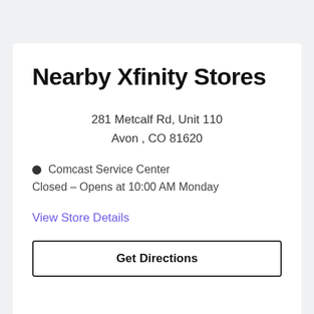Nearby Xfinity Stores
281 Metcalf Rd, Unit 110
Avon , CO 81620
Comcast Service Center
Closed – Opens at 10:00 AM Monday
View Store Details
Get Directions